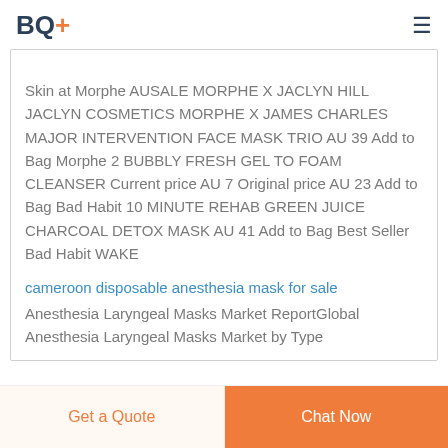BQ+
Skin at Morphe AUSALE MORPHE X JACLYN HILL JACLYN COSMETICS MORPHE X JAMES CHARLES MAJOR INTERVENTION FACE MASK TRIO AU 39 Add to Bag Morphe 2 BUBBLY FRESH GEL TO FOAM CLEANSER Current price AU 7 Original price AU 23 Add to Bag Bad Habit 10 MINUTE REHAB GREEN JUICE CHARCOAL DETOX MASK AU 41 Add to Bag Best Seller Bad Habit WAKE
cameroon disposable anesthesia mask for sale
Anesthesia Laryngeal Masks Market ReportGlobal Anesthesia Laryngeal Masks Market by Type